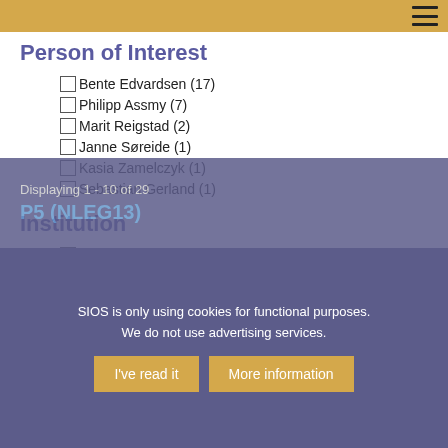Person of Interest
Bente Edvardsen (17)
Philipp Assmy (7)
Marit Reigstad (2)
Janne Søreide (1)
Kasia Zamelczyk (1)
Sebastian Gerland (1)
Institution
University of Oslo
Norwegian Polar Institute
University of Tromsø
University Centre in Svalbard
Displaying 1 - 10 of 29
P5 (NLEG13)
SIOS is only using cookies for functional purposes.
We do not use advertising services.